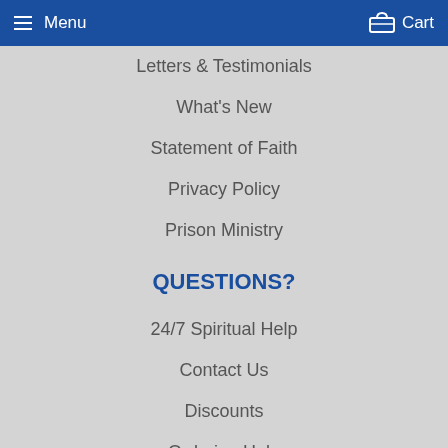Menu  Cart
Letters & Testimonials
What's New
Statement of Faith
Privacy Policy
Prison Ministry
QUESTIONS?
24/7 Spiritual Help
Contact Us
Discounts
Ordering Help
Sales Tax
Shipping
What Are Tracts?
STAY UP TO DATE